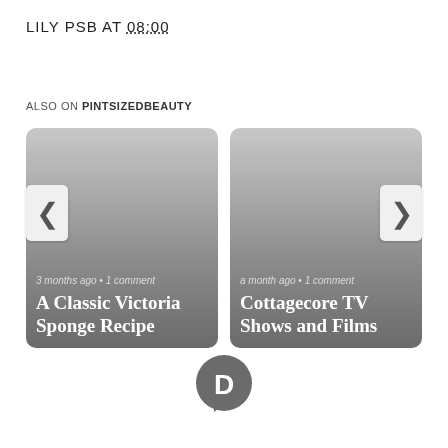LILY PSB AT 08:00
ALSO ON PINTSIZEDBEAUTY
[Figure (screenshot): Two article cards in a slider. Left card: '3 months ago • 1 comment' with title 'A Classic Victoria Sponge Recipe'. Right card: 'a month ago • 1 comment' with title 'Cottagecore TV Shows and Films'. Both cards have dark grey gradient backgrounds. Navigation chevron buttons on left and right sides.]
[Figure (logo): Disqus logo icon — grey speech bubble circle with letter D inside]